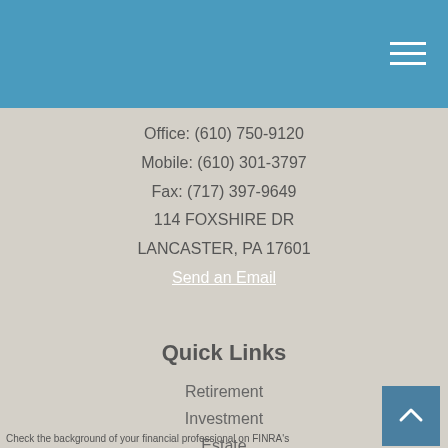Office: (610) 750-9120
Mobile: (610) 301-3797
Fax: (717) 397-9649
114 FOXSHIRE DR
LANCASTER, PA 17601
Send an Email
Quick Links
Retirement
Investment
Estate
Insurance
Tax
Money
Lifestyle
All Articles
All Videos
All Calculators
All Presentations
Check the background of your financial professional on FINRA's